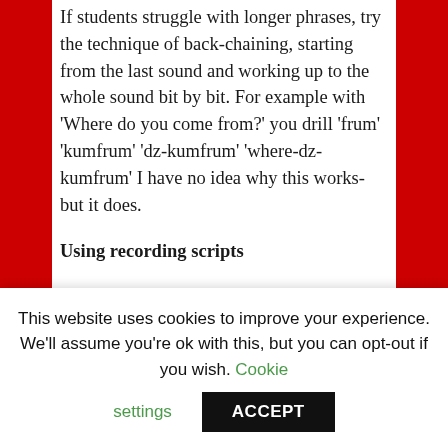If students struggle with longer phrases, try the technique of back-chaining, starting from the last sound and working up to the whole sound bit by bit. For example with 'Where do you come from?' you drill 'frum' 'kumfrum' 'dz-kumfrum' 'where-dz-kumfrum' I have no idea why this works- but it does.
Using recording scripts
Where new language has been recorded (or by recording it yourself), ask students to first look at the chunk of language written down and try saying it a few times. Then
This website uses cookies to improve your experience. We'll assume you're ok with this, but you can opt-out if you wish. Cookie settings ACCEPT